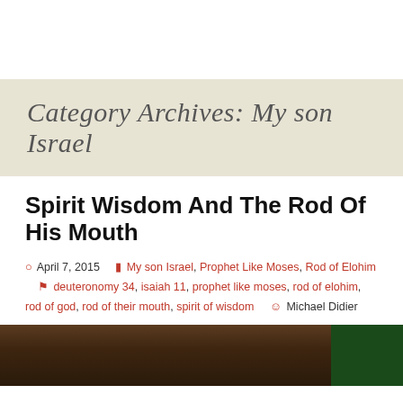Category Archives: My son Israel
Spirit Wisdom And The Rod Of His Mouth
April 7, 2015  My son Israel, Prophet Like Moses, Rod of Elohim  deuteronomy 34, isaiah 11, prophet like moses, rod of elohim, rod of god, rod of their mouth, spirit of wisdom  Michael Didier
[Figure (photo): A dark-toned photo showing what appears to be books or shelves, with a dark brown and green color palette at the bottom of the page]